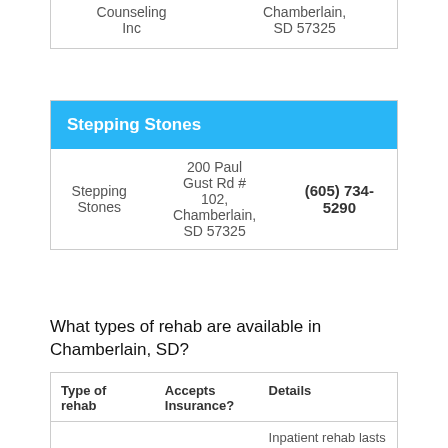| Counseling Inc | Chamberlain, SD 57325 |
Stepping Stones
| Stepping Stones | 200 Paul Gust Rd # 102, Chamberlain, SD 57325 | (605) 734-5290 |
What types of rehab are available in Chamberlain, SD?
| Type of rehab | Accepts Insurance? | Details |
| --- | --- | --- |
|  |  | Inpatient rehab lasts one month and is in a private facility |